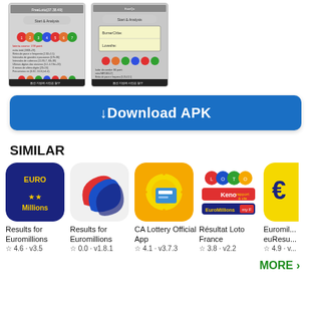[Figure (screenshot): Two smartphone screenshots of a lottery analysis app showing lottery balls and statistics, with Korean text at the bottom]
[Figure (screenshot): Second smartphone screenshot of the same lottery app showing a dialog box]
↓ Download APK
SIMILAR
[Figure (illustration): EuroMillions app icon - dark blue background with gold EURO Millions text and stars]
Results for Euromillions
☆ 4.6 · v3.5
[Figure (illustration): Results for Euromillions app icon - blue and red swirl logo]
Results for Euromillions
☆ 0.0 · v1.8.1
[Figure (illustration): CA Lottery Official App icon - sun with blue lottery ticket]
CA Lottery Official App
☆ 4.1 · v3.7.3
[Figure (illustration): Résultat Loto France app icon - Loto Keno EuroMillions logos]
Résultat Loto France
☆ 3.8 · v2.2
[Figure (illustration): Euromillions euResults app icon - yellow background with euro sign (partially visible)]
Euromil... euResu...
☆ 4.9 · v...
MORE ›